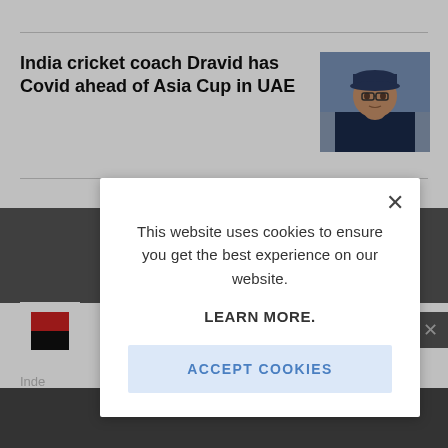India cricket coach Dravid has Covid ahead of Asia Cup in UAE
[Figure (photo): Photo of Rahul Dravid wearing a cap, close-up portrait]
Inde South bring
This website uses cookies to ensure you get the best experience on our website. LEARN MORE.
ACCEPT COOKIES